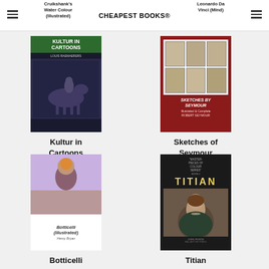Cruikshank's Water Colour (Illustrated) | CHEAPEST BOOKS® | Leonardo Da Vinci (Mind)
[Figure (illustration): Book cover: Kultur in Cartoons]
Kultur in Cartoons
[Figure (illustration): Book cover: Sketches of Seymour]
Sketches of Seymour
[Figure (illustration): Book cover: Botticelli (Illustrated)]
Botticelli
[Figure (illustration): Book cover: Titian]
Titian